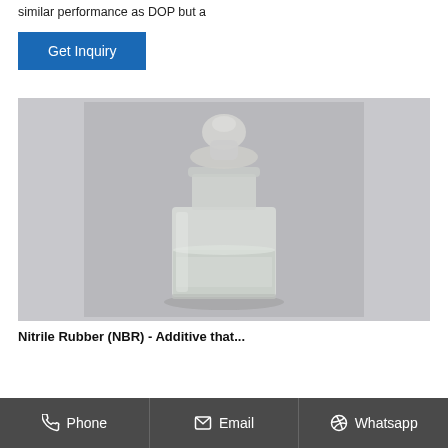similar performance as DOP but a
[Figure (other): Get Inquiry button - blue rectangular button with white text]
[Figure (photo): Photo of a clear glass laboratory bottle with a ground glass stopper, partially filled with a clear liquid, on a grey background]
Nitrile Rubber (NBR) - Additive that...
Phone   Email   Whatsapp